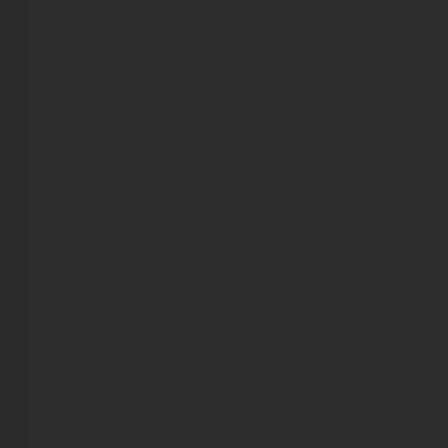and faith are all that are required in order for a government to exist. The case as is clearly evidenced by your initial argument quoted clearly